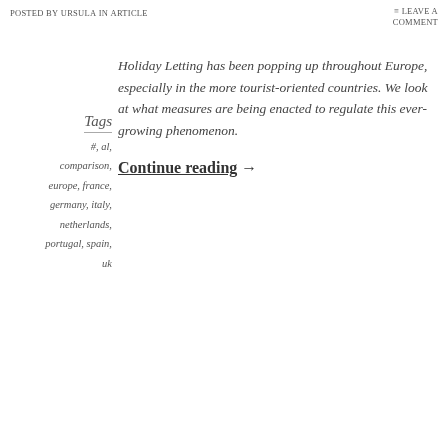Posted by Ursula in Article
≡ Leave a comment
Holiday Letting has been popping up throughout Europe, especially in the more tourist-oriented countries. We look at what measures are being enacted to regulate this ever-growing phenomenon.
Continue reading →
Tags
#, al,
comparison,
europe, france,
germany, italy,
netherlands,
portugal, spain,
uk